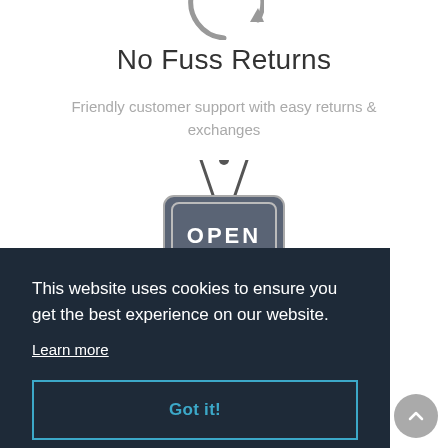[Figure (illustration): Partial circular arrow icon at the top, gray color, partially cropped]
No Fuss Returns
Friendly customer support with easy returns & exchanges
[Figure (illustration): Gray hanging OPEN sign illustration]
This website uses cookies to ensure you get the best experience on our website.
Learn more
Got it!
You May Also Like